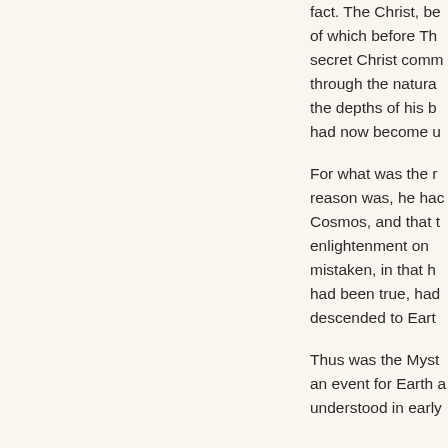fact. The Christ, be of which before The secret Christ comm through the natura the depths of his b had now become u
For what was the r reason was, he hac Cosmos, and that t enlightenment on mistaken, in that h had been true, had descended to Eartl
Thus was the Myst an event for Earth a understood in early